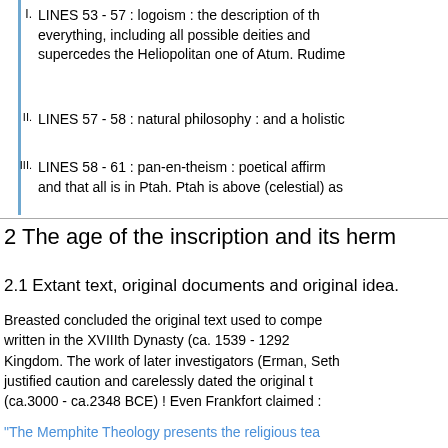I. LINES 53 - 57 : logoism : the description of the everything, including all possible deities and supercedes the Heliopolitan one of Atum. Rudime
II. LINES 57 - 58 : natural philosophy : and a holistic
III. LINES 58 - 61 : pan-en-theism : poetical affirm and that all is in Ptah. Ptah is above (celestial) as
2 The age of the inscription and its herm
2.1 Extant text, original documents and original idea.
Breasted concluded the original text used to compe written in the XVIIIth Dynasty (ca. 1539 - 1292 Kingdom. The work of later investigators (Erman, Seth justified caution and carelessly dated the original t (ca.3000 - ca.2348 BCE) ! Even Frankfort claimed :
"The Memphite Theology presents the religious tea